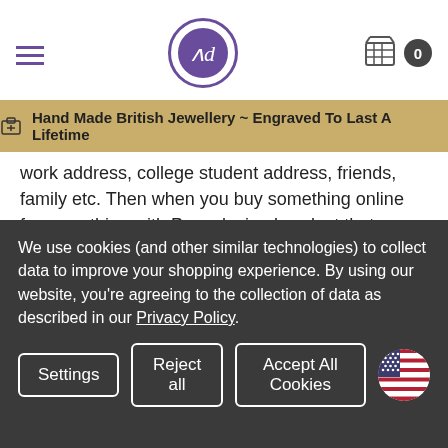Hand Made British Jewellery ~ Engraved To Last A Lifetime
work address, college student address, friends, family etc. Then when you buy something online for something with Paypal, simply select that address from your list during the payment process (edit address link is there) . Then the seller gets a good address, generated by Paypal and no questions or special instructions are needed.
TRACKING VIA ROYAL MAIL   TRACK ONLINE
TRACKING VIA FEDEX INTL   TRACK ONLINE
We use cookies (and other similar technologies) to collect data to improve your shopping experience. By using our website, you're agreeing to the collection of data as described in our Privacy Policy.
Settings   Reject all   Accept All Cookies